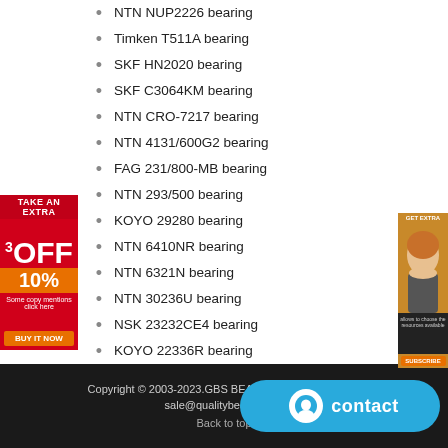NTN NUP2226 bearing
Timken T511A bearing
SKF HN2020 bearing
SKF C3064KM bearing
NTN CRO-7217 bearing
NTN 4131/600G2 bearing
FAG 231/800-MB bearing
NTN 293/500 bearing
KOYO 29280 bearing
NTN 6410NR bearing
NTN 6321N bearing
NTN 30236U bearing
NSK 23232CE4 bearing
KOYO 22336R bearing
KOYO 7936 bearing
NACHI 7026CDB bearing
KOYO NANFL202-10 bearing
Copyright © 2003-2023.GBS BEARING All rights reserved  sale@qualitybearing.org  Back to top